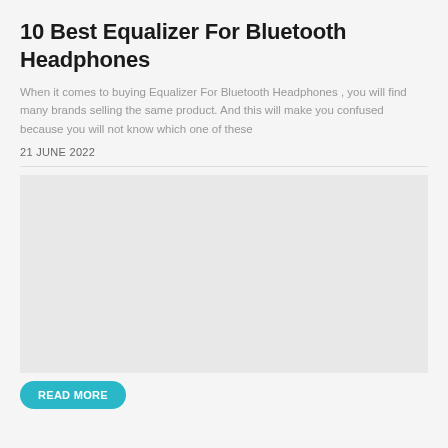10 Best Equalizer For Bluetooth Headphones
When it comes to buying Equalizer For Bluetooth Headphones , you will find many brands selling the same product. And this will make you confused because you will not know which one of these
21 JUNE 2022
[Figure (photo): Placeholder image area for article featured image, light gray background]
READ MORE